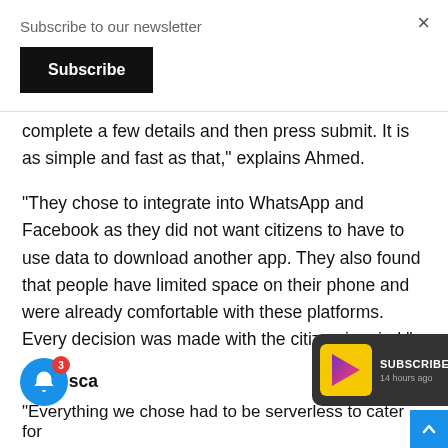Subscribe to our newsletter
Subscribe
complete a few details and then press submit. It is as simple and fast as that,” explains Ahmed.
“They chose to integrate into WhatsApp and Facebook as they did not want citizens to have to use data to download another app. They also found that people have limited space on their phone and were already comfortable with these platforms. Every decision was made with the citizen in mind.”
ed to sca
“Everything we chose had to be serverless to cater for
[Figure (screenshot): Dark notification popup with yellow/purple app icon showing SUBSCRIBE and 14 hours ago]
[Figure (infographic): Blue bell notification icon with red badge showing 3]